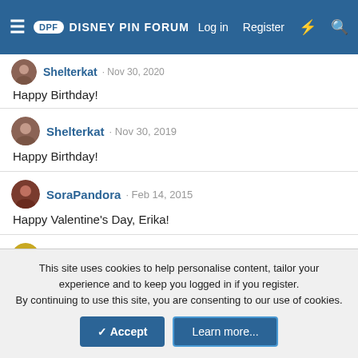DPF Disney Pin Forum — Log in | Register
Shelterkat · Nov 30, 2020
Happy Birthday!
Shelterkat · Nov 30, 2019
Happy Birthday!
SoraPandora · Feb 14, 2015
Happy Valentine's Day, Erika!
tiggermickey · Nov 30, 2014
This site uses cookies to help personalise content, tailor your experience and to keep you logged in if you register.
By continuing to use this site, you are consenting to our use of cookies.